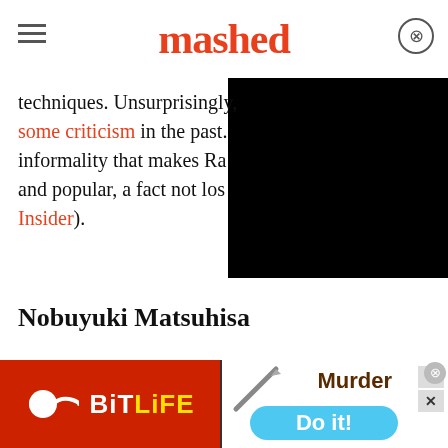mashed
techniques. Unsurprisingly, some criticism in the past. informality that makes Ra and popular, a fact not los Insider).
Nobuyuki Matsuhisa
[Figure (screenshot): Black video overlay rectangle in top-right of content area]
[Figure (screenshot): BitLife advertisement banner at bottom of page showing BitLife logo on red background and Murder/Do it! game prompt on white background]